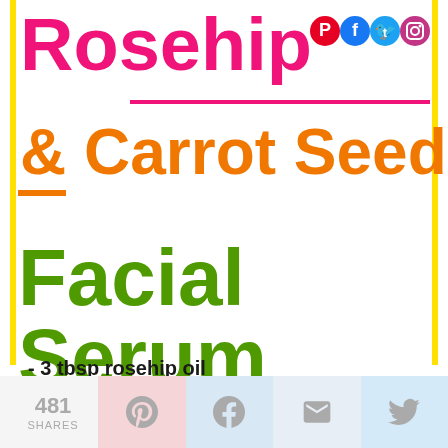Rosehip & Carrot Seed Facial Serum
- 3 tbsp rosehip oil
- 5 drops rose otto essential oil
- 5 drops carrot seed essential oil
481 SHARES